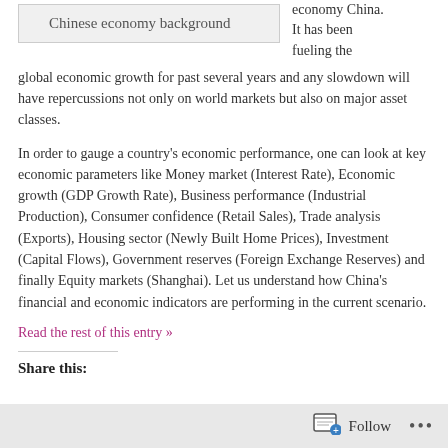| Chinese economy background |
economy China. It has been fueling the global economic growth for past several years and any slowdown will have repercussions not only on world markets but also on major asset classes.
In order to gauge a country's economic performance, one can look at key economic parameters like Money market (Interest Rate), Economic growth (GDP Growth Rate), Business performance (Industrial Production), Consumer confidence (Retail Sales), Trade analysis (Exports), Housing sector (Newly Built Home Prices), Investment (Capital Flows), Government reserves (Foreign Exchange Reserves) and finally Equity markets (Shanghai). Let us understand how China's financial and economic indicators are performing in the current scenario.
Read the rest of this entry »
Share this:
Follow ...